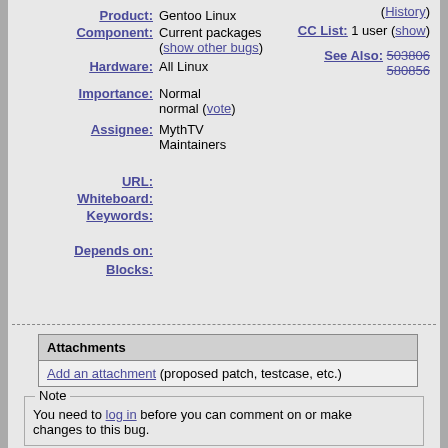Product: Gentoo Linux
Component: Current packages (show other bugs)
Hardware: All Linux
Importance: Normal normal (vote)
Assignee: MythTV Maintainers
URL:
Whiteboard:
Keywords:
Depends on:
Blocks:
(History)
CC List: 1 user (show)
See Also: 503806 580856
| Attachments |
| --- |
| Add an attachment (proposed patch, testcase, etc.) |
Note
You need to log in before you can comment on or make changes to this bug.